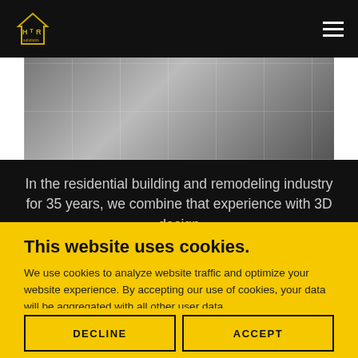HTR Solutions — navigation header with logo and hamburger menu
[Figure (photo): Construction/flooring photo showing large white tiles being laid on a floor, with a white door frame visible on the right side]
In the residential building and remodeling industry for 35 years, we combine that experience with 3D design
This website uses cookies.
We use cookies to analyze website traffic and optimize your website experience. By accepting our use of cookies, your data will be aggregated with all other user data.
DECLINE
ACCEPT